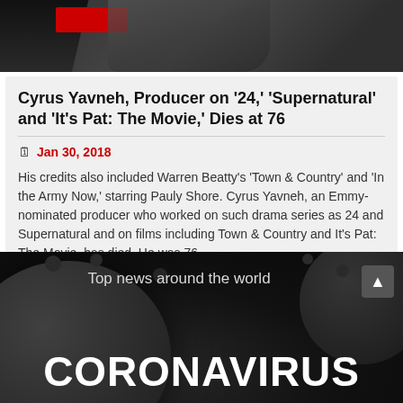[Figure (photo): Dark header image of a person in a suit with a red bar overlay, black and grey tones]
Cyrus Yavneh, Producer on '24,' 'Supernatural' and 'It's Pat: The Movie,' Dies at 76
Jan 30, 2018
His credits also included Warren Beatty's 'Town & Country' and 'In the Army Now,' starring Pauly Shore. Cyrus Yavneh, an Emmy-nominated producer who worked on such drama series as 24 and Supernatural and on films including Town & Country and It's Pat: The Movie, has died. He was 76.
READ MORE
[Figure (photo): Dark background with coronavirus particle imagery, 'Top news around the world' text, and large CORONAVIRUS text at bottom]
Top news around the world
CORONAVIRUS